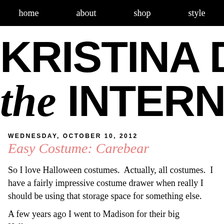home  about  shop  style
KRISTINA DOES the INTERNET
WEDNESDAY, OCTOBER 10, 2012
Easy Costume: Carebear
So I love Halloween costumes.  Actually, all costumes.  I have a fairly impressive costume drawer when really I should be using that storage space for something else.
A few years ago I went to Madison for their big Halloween